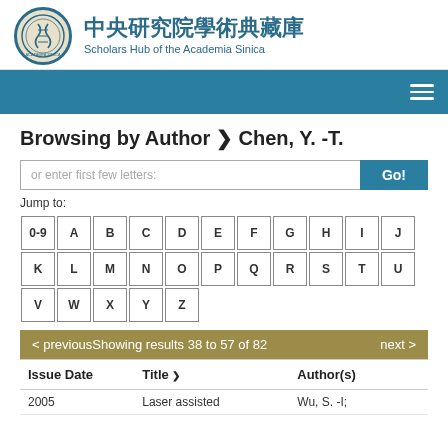[Figure (logo): Academia Sinica logo seal in circular form with DNA/helix emblem]
中央研究院學術典藏庫
Scholars Hub of the Academia Sinica
Browsing by Author ❯ Chen, Y. -T.
or enter first few letters:
Jump to:
0-9 A B C D E F G H I J K L M N O P Q R S T U V W X Y Z
< previousShowing results 38 to 57 of 82    next >
| Issue Date | Title ❯ | Author(s) |
| --- | --- | --- |
| 2005 | Laser assisted | Wu, S. -I; |